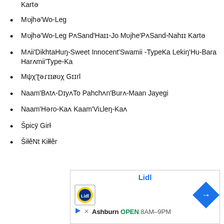Karte (partial, top cut off)
Mʋjhə'Wo-Leg
Mʋjhə'Wo-Leg PʌSand'Haɪɪ-Jo Mʋjhe'PʌSand-Nahɪɪ Kartə
Mʌii'DikhtaHuŋ-Sweet Innocent'Swamii -TypeKa Lekiŋ'Hu-Bara Harʌmii'Type-Ka
Mψχ'ʈəɾɪɪøʋχ Gɪɪrl
Naam'Bʌtʌ-DɪyʌTo Pahchʌn'Burʌ-Maan Jayegi
Naam'Həro-Kaʌ Kaam'Viʟleŋ-Kaʌ
Špicÿ Girł
ŠiłêNt Kiłłêr
[Figure (advertisement): Lidl advertisement banner showing Lidl logo, navigation arrow icon, location Ashburn, open times 8AM-9PM]